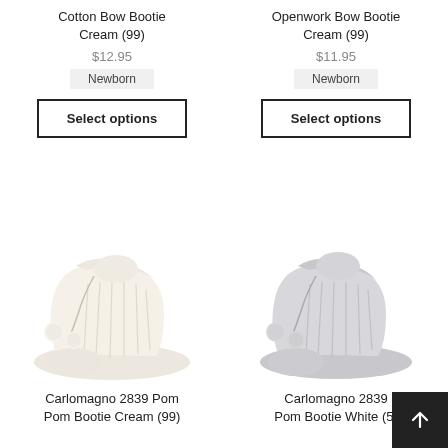Cotton Bow Bootie Cream (99)
$12.95
Newborn
Select options
Openwork Bow Bootie Cream (99)
$11.95
Newborn
Select options
[Figure (photo): Cream knit baby bootie with pom pom ties]
Carlomagno 2839 Pom Pom Bootie Cream (99)
[Figure (photo): White/grey knit baby bootie with pom pom ties]
Carlomagno 2839 Pom Bootie White (5)